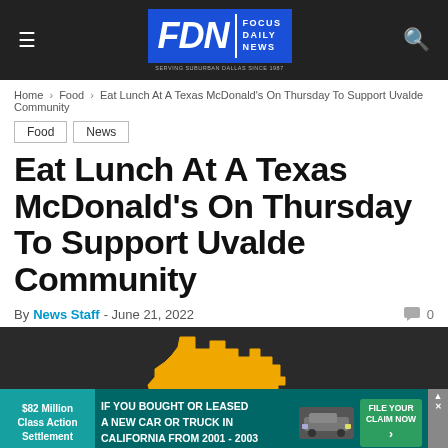FDN | FOCUS DAILY NEWS — Serving Suburban Dallas Since 1987
Home > Food > Eat Lunch At A Texas McDonald's On Thursday To Support Uvalde Community
Food
News
Eat Lunch At A Texas McDonald's On Thursday To Support Uvalde Community
By News Staff - June 21, 2022   0
[Figure (map): Map showing the outline of a Texas region highlighted in orange/yellow on a dark background]
$82 Million Class Action Settlement — IF YOU BOUGHT OR LEASED A NEW CAR OR TRUCK IN CALIFORNIA FROM 2001 - 2003 — FILE YOUR CLAIM NOW